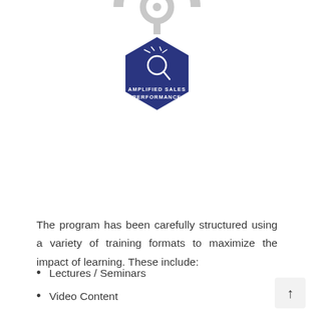[Figure (illustration): Partially visible grey wheel/cogwheel at top, with a dark navy hexagonal badge below it containing a magnifying glass icon and text 'AMPLIFIED SALES PERFORMANCE']
The program has been carefully structured using a variety of training formats to maximize the impact of learning. These include:
Lectures / Seminars
Video Content
Individual Activities
Team Activities